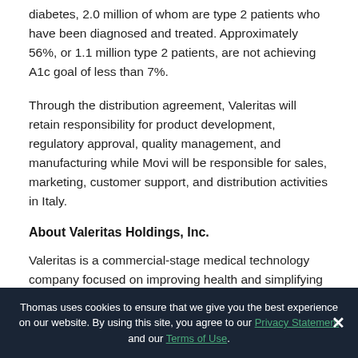diabetes, 2.0 million of whom are type 2 patients who have been diagnosed and treated. Approximately 56%, or 1.1 million type 2 patients, are not achieving A1c goal of less than 7%.
Through the distribution agreement, Valeritas will retain responsibility for product development, regulatory approval, quality management, and manufacturing while Movi will be responsible for sales, marketing, customer support, and distribution activities in Italy.
About Valeritas Holdings, Inc.
Valeritas is a commercial-stage medical technology company focused on improving health and simplifying life for people with diabetes by developing and
Thomas uses cookies to ensure that we give you the best experience on our website. By using this site, you agree to our Privacy Statement and our Terms of Use.